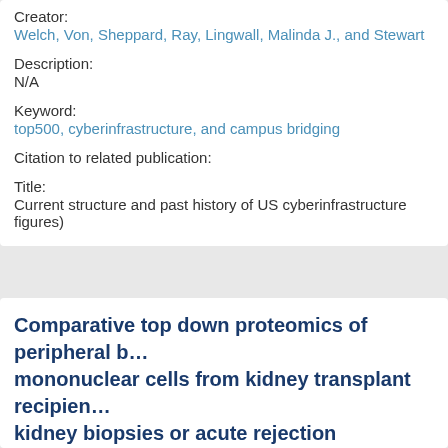Creator:
Welch, Von, Sheppard, Ray, Lingwall, Malinda J., and Stewart
Description:
N/A
Keyword:
top500, cyberinfrastructure, and campus bridging
Citation to related publication:
Title:
Current structure and past history of US cyberinfrastructure figures)
Comparative top down proteomics of peripheral blood mononuclear cells from kidney transplant recipients with kidney biopsies or acute rejection